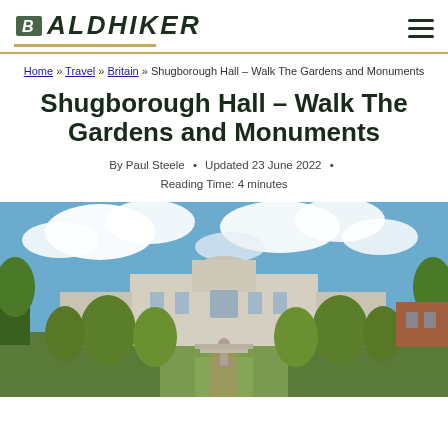BALDHIKER
Home » Travel » Britain » Shugborough Hall – Walk The Gardens and Monuments
Shugborough Hall – Walk The Gardens and Monuments
By Paul Steele • Updated 23 June 2022 • Reading Time: 4 minutes
[Figure (photo): Exterior photograph of Shugborough Hall, a grand Georgian country house, viewed from the formal gardens. Topiary yew trees in the foreground, blue sky with white clouds above.]